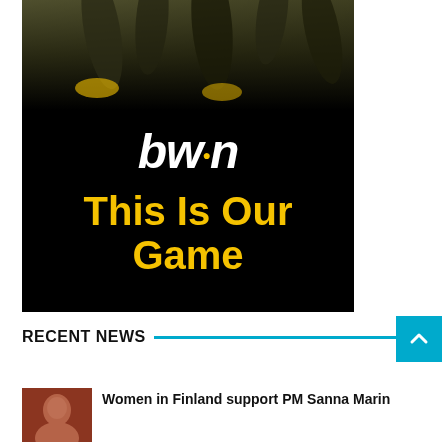[Figure (illustration): bwin advertisement banner with dark background, soccer players' feet visible at top, 'bwin' logo in white italic bold text with yellow dot over the 'i', and tagline 'This Is Our Game' in large bold yellow text]
RECENT NEWS
[Figure (photo): Small thumbnail photo of a woman, appearing to be Sanna Marin, with dark hair]
Women in Finland support PM Sanna Marin